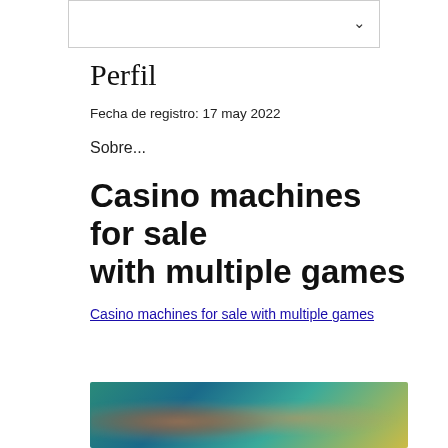[Figure (other): Top navigation bar with a chevron/dropdown arrow on the right side]
Perfil
Fecha de registro: 17 may 2022
Sobre...
Casino machines for sale with multiple games
Casino machines for sale with multiple games
[Figure (photo): Blurred/pixelated image with teal and golden tones, appears to show animated or game characters]